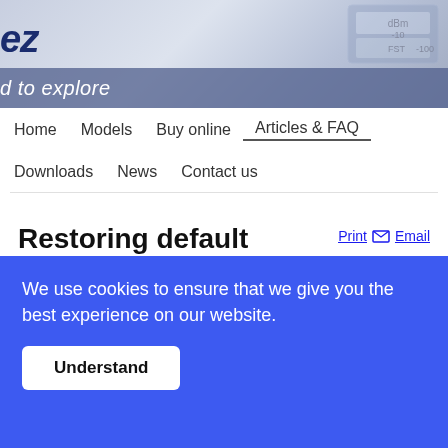[Figure (screenshot): Website header banner with logo partial text showing italic letters, a blue tagline bar reading 'd to explore', and a faint device/instrument image in the top right corner]
Home | Models | Buy online | Articles & FAQ | Downloads | News | Contact us
Restoring default settings
Some users ask from time to time how to bring the unit back to
We use cookies to ensure that we give you the best experience on our website.